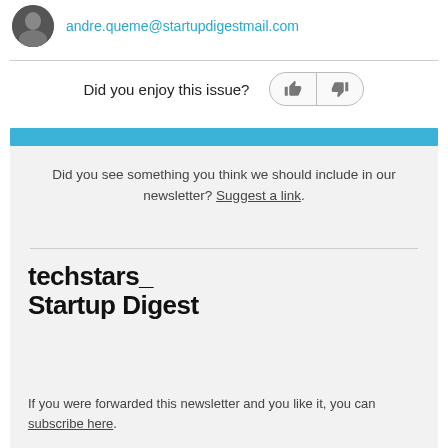andre.queme@startupdigestmail.com
Did you enjoy this issue?
Did you see something you think we should include in our newsletter? Suggest a link.
techstars_
Startup Digest
If you were forwarded this newsletter and you like it, you can subscribe here.